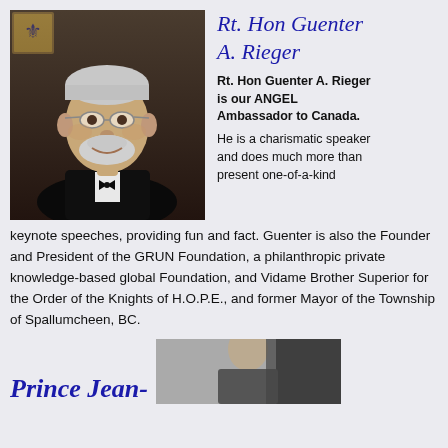[Figure (photo): Portrait photo of Rt. Hon Guenter A. Rieger, an older man with gray hair and beard wearing glasses and a tuxedo with bow tie, smiling. A small coat of arms badge is visible in the top-left corner of the photo.]
Rt. Hon Guenter A. Rieger
Rt. Hon Guenter A. Rieger is our ANGEL Ambassador to Canada. He is a charismatic speaker and does much more than present one-of-a-kind keynote speeches, providing fun and fact. Guenter is also the Founder and President of the GRUN Foundation, a philanthropic private knowledge-based global Foundation, and Vidame Brother Superior for the Order of the Knights of H.O.P.E., and former Mayor of the Township of Spallumcheen, BC.
Prince Jean-
[Figure (photo): Partial photo visible at bottom right of the page, appears to be another person's portrait photo, partially cut off.]